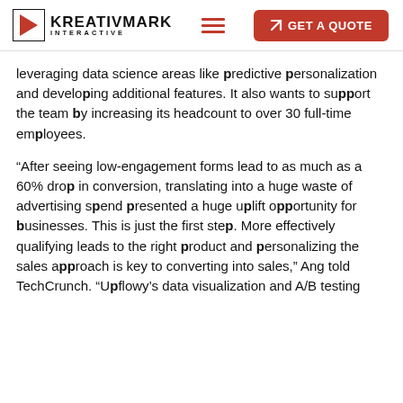KREATIVMARK INTERACTIVE — GET A QUOTE
leveraging data science areas like predictive personalization and developing additional features. It also wants to support the team by increasing its headcount to over 30 full-time employees.
“After seeing low-engagement forms lead to as much as a 60% drop in conversion, translating into a huge waste of advertising spend presented a huge uplift opportunity for businesses. This is just the first step. More effectively qualifying leads to the right product and personalizing the sales approach is key to converting into sales,” Ang told TechCrunch. “Upflowy’s data visualization and A/B testing